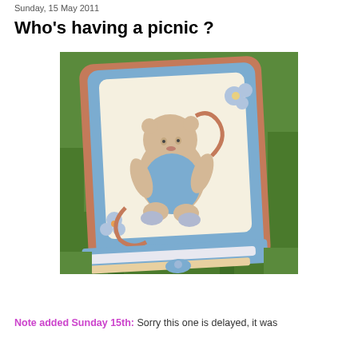Sunday, 15 May 2011
Who's having a picnic ?
[Figure (photo): A decorative handmade card photographed on grass. The card features a shaped die-cut design with terracotta/brown and blue layered borders, showing a cute illustration of a sitting teddy bear or child figure with flowers. The bottom of the card has decorative ribbon embellishments in blue and white with flower details.]
Note added Sunday 15th: Sorry this one is delayed, it was